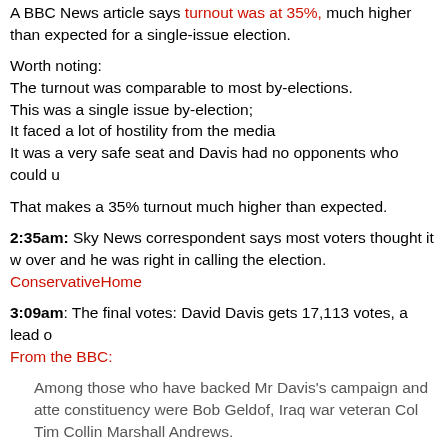A BBC News article says turnout was at 35%, much higher than expected for a single-issue election.
Worth noting:
The turnout was comparable to most by-elections.
This was a single issue by-election;
It faced a lot of hostility from the media
It was a very safe seat and Davis had no opponents who could u...
That makes a 35% turnout much higher than expected.
2:35am: Sky News correspondent says most voters thought it w... over and he was right in calling the election. ConservativeHome
3:09am: The final votes: David Davis gets 17,113 votes, a lead o... From the BBC:
Among those who have backed Mr Davis's campaign and atte... constituency were Bob Geldof, Iraq war veteran Col Tim Collin... Marshall Andrews.
But the Green Party questioned Mr Davis's stance on some ci... his support for the 28-day limit on holding terror suspects withe... days in 2005, and his views on capital punishment and gay rig...